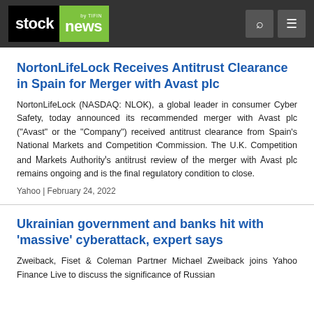stock news by TIFIN
NortonLifeLock Receives Antitrust Clearance in Spain for Merger with Avast plc
NortonLifeLock (NASDAQ: NLOK), a global leader in consumer Cyber Safety, today announced its recommended merger with Avast plc ("Avast" or the "Company") received antitrust clearance from Spain's National Markets and Competition Commission. The U.K. Competition and Markets Authority's antitrust review of the merger with Avast plc remains ongoing and is the final regulatory condition to close.
Yahoo | February 24, 2022
Ukrainian government and banks hit with 'massive' cyberattack, expert says
Zweiback, Fiset & Coleman Partner Michael Zweiback joins Yahoo Finance Live to discuss the significance of Russian